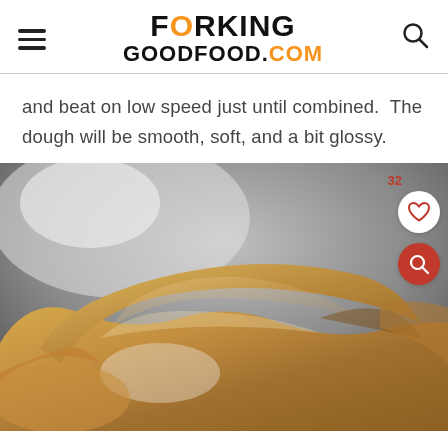FORKING GOODFOOD.COM
and beat on low speed just until combined.  The dough will be smooth, soft, and a bit glossy.
[Figure (photo): Close-up photo of smooth, soft, glossy cookie dough in a metal mixing bowl, showing the texture of the dough after beating.]